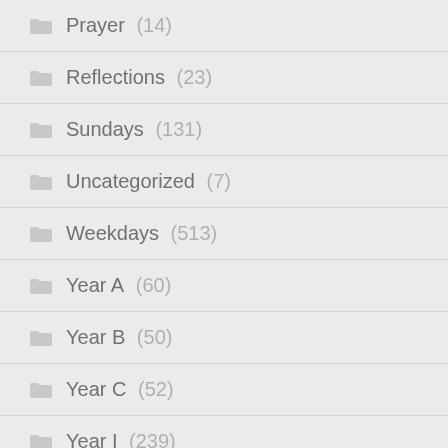Prayer (14)
Reflections (23)
Sundays (131)
Uncategorized (7)
Weekdays (513)
Year A (60)
Year B (50)
Year C (52)
Year I (239)
Eight Week (3)